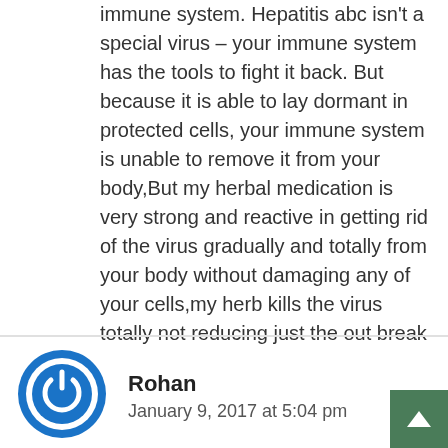immune system. Hepatitis abc isn't a special virus – your immune system has the tools to fight it back. But because it is able to lay dormant in protected cells, your immune system is unable to remove it from your body,But my herbal medication is very strong and reactive in getting rid of the virus gradually and totally from your body without damaging any of your cells,my herb kills the virus totally not reducing just the out break okay.....add me on whatsapp with this number for you cure +2348151714295 or write me through my email lukaspellhome@yahoo.c
Reply
Rohan
January 9, 2017 at 5:04 pm
If your medicine is so strong why it is not been introduced in main stream. you can be a game